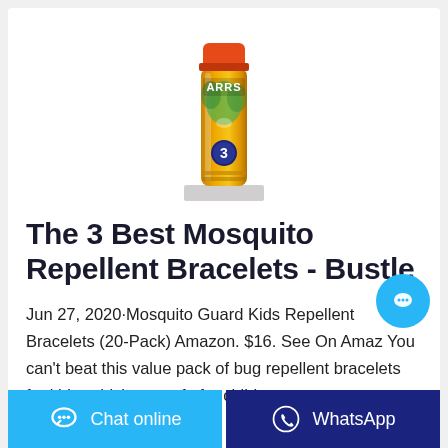[Figure (photo): A spray can of mosquito repellent (ARRS brand label, orange cap, yellow/gold body with green and white graphics and a blue badge showing number 3) standing on a white rectangular platform/display stand.]
The 3 Best Mosquito Repellent Bracelets - Bustle
Jun 27, 2020·Mosquito Guard Kids Repellent Bracelets (20-Pack) Amazon. $16. See On Amazon. You can't beat this value pack of bug repellent bracelets for kids, which are safe for children over